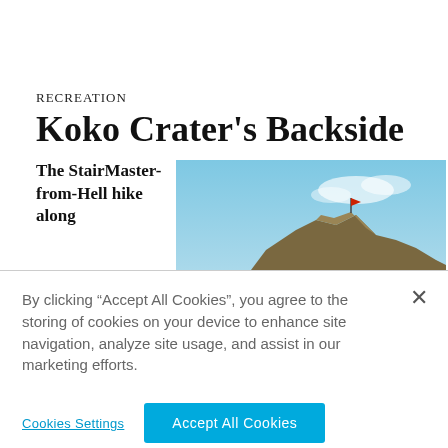RECREATION
Koko Crater's Backside
The StairMaster-from-Hell hike along
[Figure (photo): Rocky hillside with clear blue sky; a small flag or marker visible at the rocky summit.]
By clicking “Accept All Cookies”, you agree to the storing of cookies on your device to enhance site navigation, analyze site usage, and assist in our marketing efforts.
Cookies Settings
Accept All Cookies